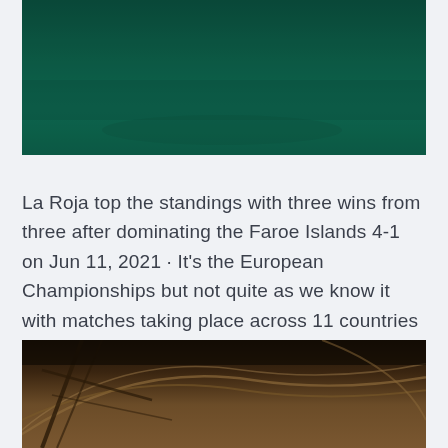[Figure (photo): Top portion of a photo showing a dark teal/green water or surface, cropped at the top of the page]
La Roja top the standings with three wins from three after dominating the Faroe Islands 4-1 on Jun 11, 2021 · It's the European Championships but not quite as we know it with matches taking place across 11 countries and venues this summer.
[Figure (photo): Bottom portion showing a dark architectural interior with curved arches and metal framework, sepia/warm toned]